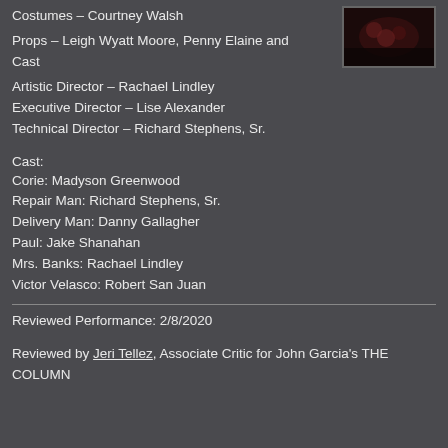Costumes – Courtney Walsh
[Figure (photo): Dark theatrical photo showing cast or stage scene with reddish lighting]
Props – Leigh Wyatt Moore, Penny Elaine and Cast
Artistic Director – Rachael Lindley
Executive Director – Lise Alexander
Technical Director – Richard Stephens, Sr.
Cast:
Corie: Madyson Greenwood
Repair Man: Richard Stephens, Sr.
Delivery Man: Danny Gallagher
Paul: Jake Shanahan
Mrs. Banks: Rachael Lindley
Victor Velasco: Robert San Juan
Reviewed Performance: 2/8/2020
Reviewed by Jeri Tellez, Associate Critic for John Garcia's THE COLUMN